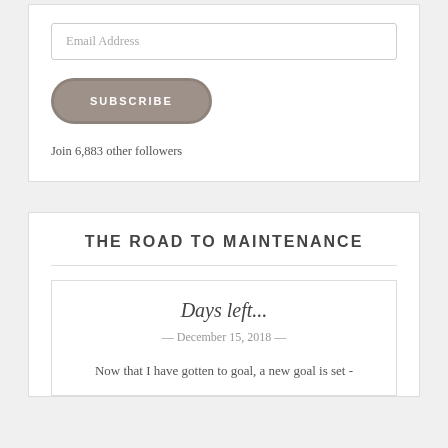[Figure (screenshot): Email subscription widget with input field, subscribe button, and follower count]
Email Address
SUBSCRIBE
Join 6,883 other followers
THE ROAD TO MAINTENANCE
Days left...
December 15, 2018
Now that I have gotten to goal, a new goal is set -